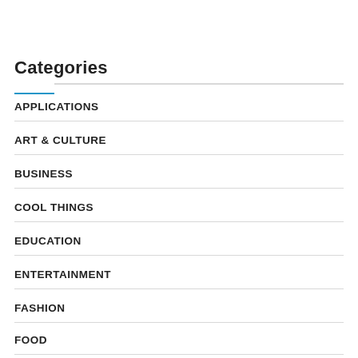Categories
APPLICATIONS
ART & CULTURE
BUSINESS
COOL THINGS
EDUCATION
ENTERTAINMENT
FASHION
FOOD
GAMING